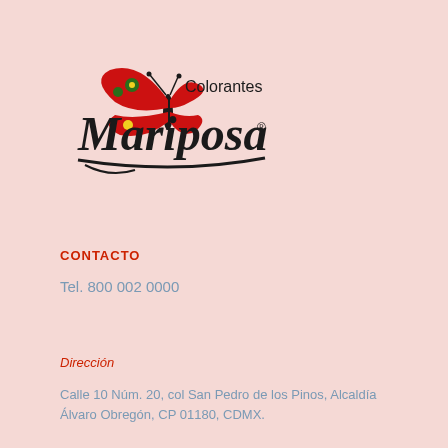[Figure (logo): Colorantes Mariposa logo with butterfly illustration and stylized script text]
CONTACTO
Tel. 800 002 0000
Dirección
Calle 10 Núm. 20, col San Pedro de los Pinos, Alcaldía Álvaro Obregón, CP 01180, CDMX.